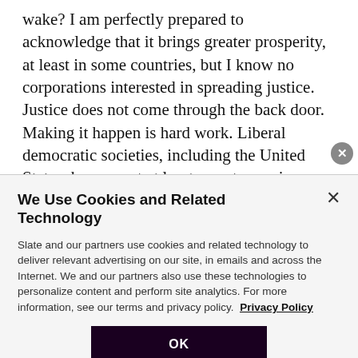wake? I am perfectly prepared to acknowledge that it brings greater prosperity, at least in some countries, but I know no corporations interested in spreading justice. Justice does not come through the back door. Making it happen is hard work. Liberal democratic societies, including the United States, have spent at least a century using government to bring about a modicum of social justice for people who, through no fault of their
We Use Cookies and Related Technology
Slate and our partners use cookies and related technology to deliver relevant advertising on our site, in emails and across the Internet. We and our partners also use these technologies to personalize content and perform site analytics. For more information, see our terms and privacy policy. Privacy Policy